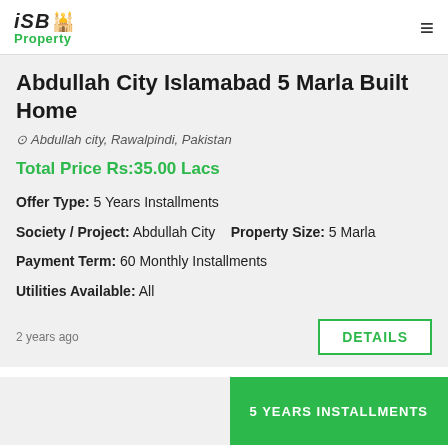ISB Property
Abdullah City Islamabad 5 Marla Built Home
Abdullah city, Rawalpindi, Pakistan
Total Price Rs:35.00 Lacs
Offer Type: 5 Years Installments
Society / Project: Abdullah City    Property Size: 5 Marla
Payment Term: 60 Monthly Installments
Utilities Available: All
2 years ago
DETAILS
5 YEARS INSTALLMENTS